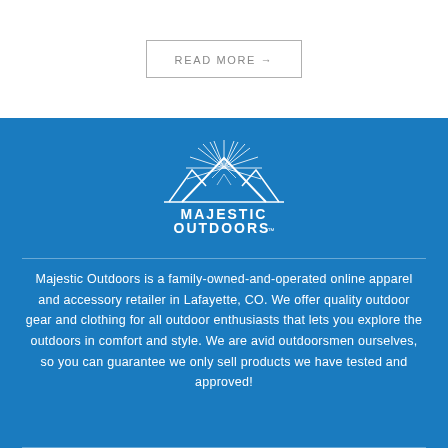READ MORE →
[Figure (logo): Majestic Outdoors logo - white mountain peaks with sunburst above, text MAJESTIC OUTDOORS TM below, on blue background]
Majestic Outdoors is a family-owned-and-operated online apparel and accessory retailer in Lafayette, CO. We offer quality outdoor gear and clothing for all outdoor enthusiasts that lets you explore the outdoors in comfort and style. We are avid outdoorsmen ourselves, so you can guarantee we only sell products we have tested and approved!